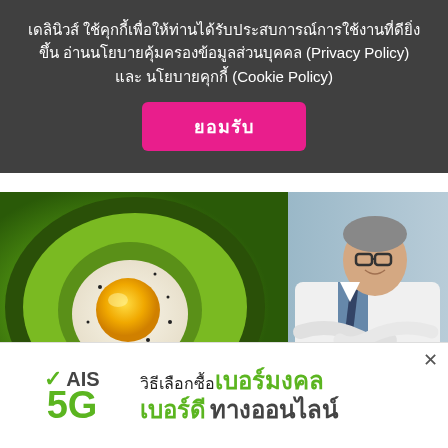เดลินิวส์ ใช้คุกกี้เพื่อให้ท่านได้รับประสบการณ์การใช้งานที่ดียิ่งขึ้น อ่านนโยบายคุ้มครองข้อมูลส่วนบุคคล (Privacy Policy) และ นโยบายคุกกี้ (Cookie Policy)
ยอมรับ
[Figure (photo): Close-up photo of a fried egg in an avocado half with black pepper, alongside a male doctor in a white lab coat with arms crossed, smiling]
Doctor Tells: Do You Have Too Much Belly Fat? (Eat This Before Bed)
[Figure (advertisement): AIS 5G advertisement banner in Thai: วิธีเลือกซื้อเบอร์มงคล เบอร์ดี ทางออนไลน์]